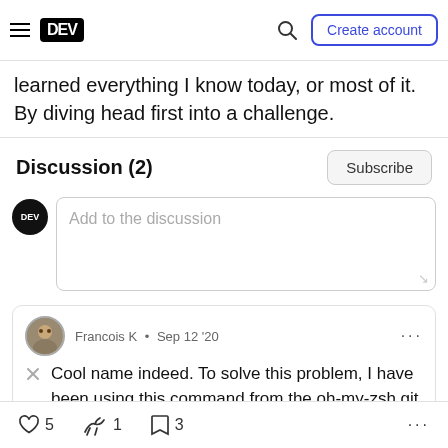DEV | Create account
learned everything I know today, or most of it. By diving head first into a challenge.
Discussion (2)
Add to the discussion
Francois K · Sep 12 '20
Cool name indeed. To solve this problem, I have been using this command from the oh-my-zsh git plugin :
5  1  3  ...